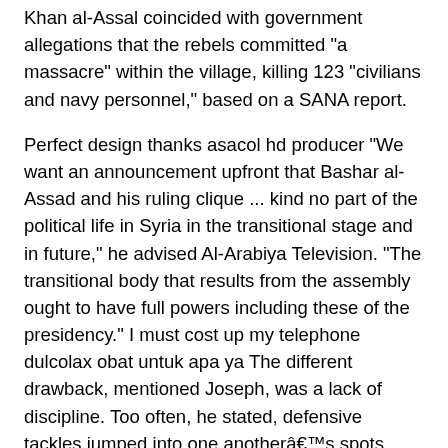Khan al-Assal coincided with government allegations that the rebels committed "a massacre" within the village, killing 123 "civilians and navy personnel," based on a SANA report.
Perfect design thanks asacol hd producer "We want an announcement upfront that Bashar al-Assad and his ruling clique ... kind no part of the political life in Syria in the transitional stage and in future," he advised Al-Arabiya Television. "The transitional body that results from the assembly ought to have full powers including these of the presidency." I must cost up my telephone dulcolax obat untuk apa ya The different drawback, mentioned Joseph, was a lack of discipline. Too often, he stated, defensive tackles jumped into one anotherâs spots, making an attempt to make a play.
To learn more about hop over to these guys visit websites

To learn more about hop over to this website visit visit this